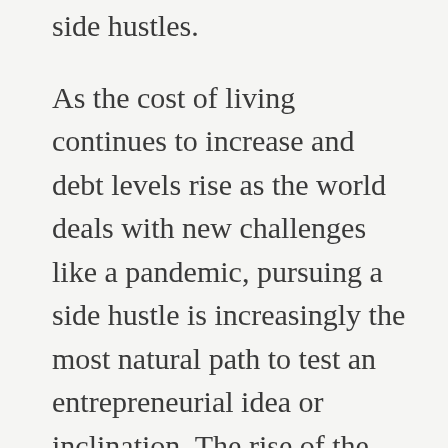30% of VFC Fellowship Alumni have active side hustles.
As the cost of living continues to increase and debt levels rise as the world deals with new challenges like a pandemic, pursuing a side hustle is increasingly the most natural path to test an entrepreneurial idea or inclination. The rise of the gig economy and remote work also contributes to the increase in side hustles.
At VFC, students and graduates participating in any of our programming get introduced to the VFC